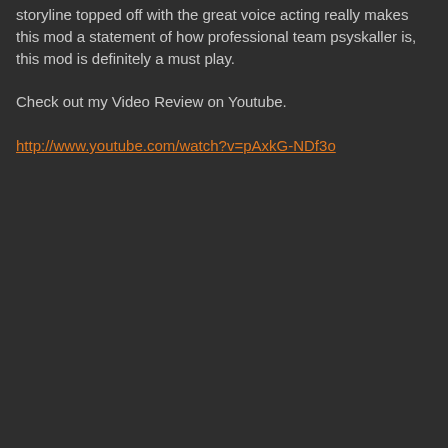storyline topped off with the great voice acting really makes this mod a statement of how professional team psyskaller is, this mod is definitely a must play.
Check out my Video Review on Youtube.
http://www.youtube.com/watch?v=pAxkG-NDf3o
alencore
20th March 2012 at 4:24 am
the more advance hl1 mods such as COF requires steam version of hl1 to work smoother with much less crashes.
Here's some few tips I got from other players.